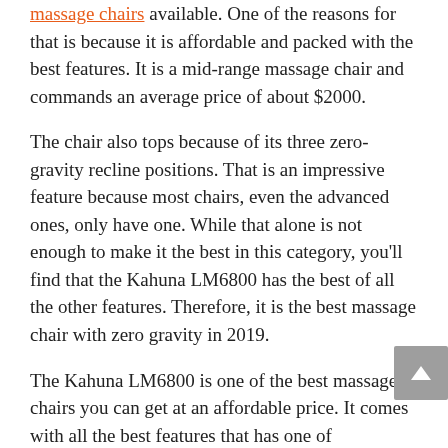massage chairs available. One of the reasons for that is because it is affordable and packed with the best features. It is a mid-range massage chair and commands an average price of about $2000.
The chair also tops because of its three zero-gravity recline positions. That is an impressive feature because most chairs, even the advanced ones, only have one. While that alone is not enough to make it the best in this category, you'll find that the Kahuna LM6800 has the best of all the other features. Therefore, it is the best massage chair with zero gravity in 2019.
The Kahuna LM6800 is one of the best massage chairs you can get at an affordable price. It comes with all the best features that has one of